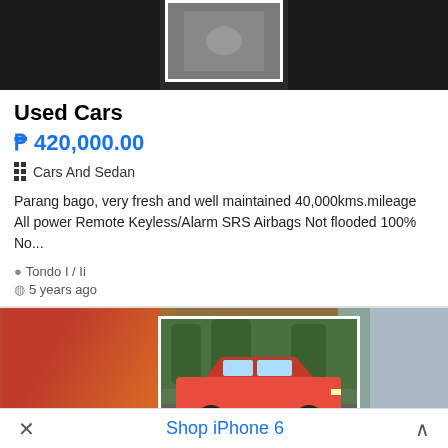[Figure (photo): Top portion of a used car listing image — dark background with a centered thumbnail photo (appears to be a car interior/close-up) bordered in white]
Used Cars
₱ 420,000.00
Cars And Sedan
Parang bago, very fresh and well maintained 40,000kms.mileage All power Remote Keyless/Alarm SRS Airbags Not flooded 100% No...
Tondo I / Ii
5 years ago
[Figure (photo): Photo collage of a red/orange sedan car (Toyota Lancer style) shown from multiple angles — left and right blurred sides with a sharp centered bordered photo showing the car parked outdoors among trees]
× Shop iPhone 6 ∧